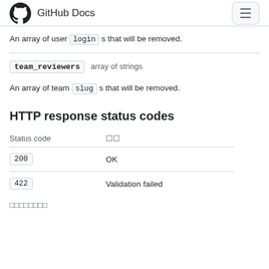GitHub Docs
An array of user login s that will be removed.
team_reviewers   array of strings
An array of team slug s that will be removed.
HTTP response status codes
| Status code |  |
| --- | --- |
| 200 | OK |
| 422 | Validation failed |